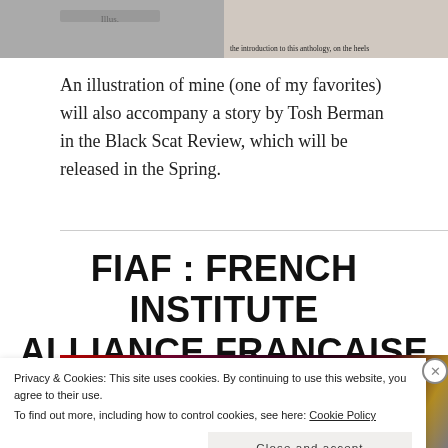[Figure (photo): Two cropped photographs side by side at the top of the page. Left photo is dark/grey. Right photo shows printed text partially visible: 'the introduction to this anthology, on the heels']
An illustration of mine (one of my favorites) will also accompany a story by Tosh Berman in the Black Scat Review, which will be released in the Spring.
FIAF : FRENCH INSTITUTE ALLIANCE FRANÇAISE
[Figure (photo): Colorful event/performance photograph, partially visible, showing dark reds and yellows]
Privacy & Cookies: This site uses cookies. By continuing to use this website, you agree to their use.
To find out more, including how to control cookies, see here: Cookie Policy
Close and accept